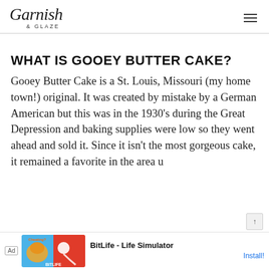Garnish & Glaze
WHAT IS GOOEY BUTTER CAKE?
Gooey Butter Cake is a St. Louis, Missouri (my home town!) original. It was created by mistake by a German American but this was in the 1930's during the Great Depression and baking supplies were low so they went ahead and sold it. Since it isn't the most gorgeous cake, it remained a favorite in the area u...
[Figure (screenshot): Ad banner at bottom of page for BitLife - Life Simulator app with install button]